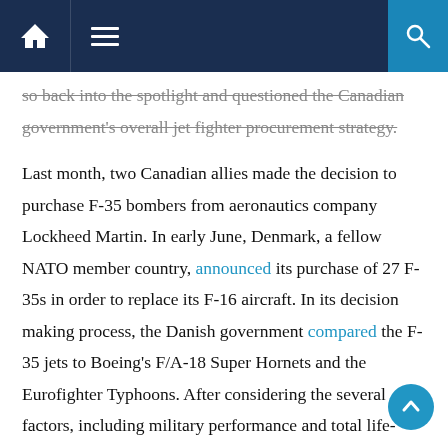Navigation bar with home, menu, and search icons
so back into the spotlight and questioned the Canadian government's overall jet fighter procurement strategy.
Last month, two Canadian allies made the decision to purchase F-35 bombers from aeronautics company Lockheed Martin. In early June, Denmark, a fellow NATO member country, announced its purchase of 27 F-35s in order to replace its F-16 aircraft. In its decision making process, the Danish government compared the F-35 jets to Boeing's F/A-18 Super Hornets and the Eurofighter Typhoons. After considering the several factors, including military performance and total life-span costs, the Danish found the F-35s to be cheaper and more effective than both the F/A-18 Super Hornets and the